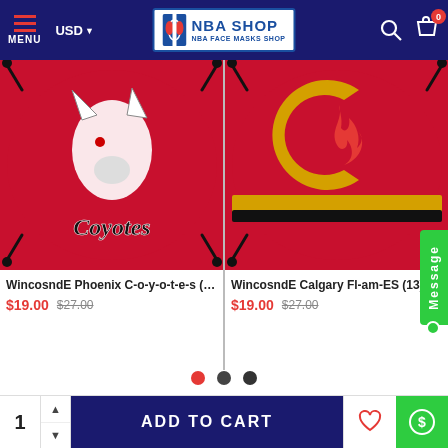MENU  USD  NBA SHOP — NBA FACE MASKS SHOP
[Figure (photo): Coyotes branded face mask on white background — red mask with Coyotes logo]
WincosndE Phoenix C-o-y-o-t-e-s (7)…  $19.00  $27.00
[Figure (photo): Calgary Flames branded face mask — red mask with Flames C logo]
WincosndE Calgary Fl-am-ES (13) Du…  $19.00  $27.00
SHOP
About Us
Shipping Information
ADD TO CART